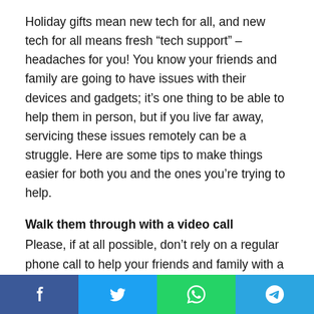Holiday gifts mean new tech for all, and new tech for all means fresh “tech support” – headaches for you! You know your friends and family are going to have issues with their devices and gadgets; it’s one thing to be able to help them in person, but if you live far away, servicing these issues remotely can be a struggle. Here are some tips to make things easier for both you and the ones you’re trying to help.
Walk them through with a video call
Please, if at all possible, don’t rely on a regular phone call to help your friends and family with a tech issue. It might be natural for someone to call you up with a question about their device, but only having their voice to go on when working through a problem can quickly turn into a problem of its own.
Don’t get me wrong; plenty of tech questions can be solved on
Share buttons: Facebook, Twitter, WhatsApp, Telegram